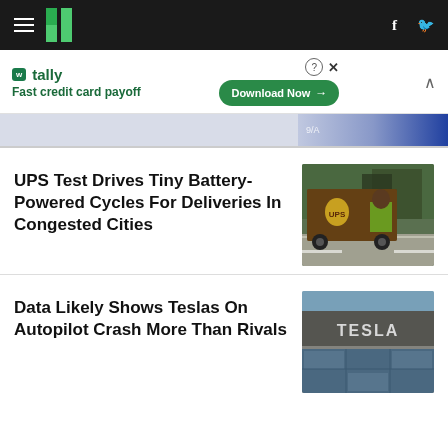HuffPost navigation bar with logo, hamburger menu, Facebook and Twitter icons
[Figure (other): Tally advertisement banner: Fast credit card payoff, Download Now button]
UPS Test Drives Tiny Battery-Powered Cycles For Deliveries In Congested Cities
[Figure (photo): UPS delivery worker riding a small battery-powered cargo cycle on a city street]
Data Likely Shows Teslas On Autopilot Crash More Than Rivals
[Figure (photo): Tesla building exterior with large TESLA sign on gray wall]